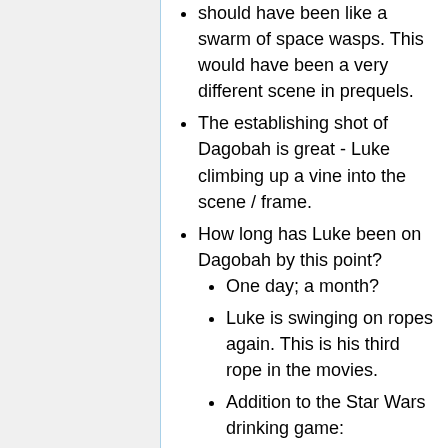should have been like a swarm of space wasps. This would have been a very different scene in prequels.
The establishing shot of Dagobah is great - Luke climbing up a vine into the scene / frame.
How long has Luke been on Dagobah by this point?
One day; a month?
Luke is swinging on ropes again. This is his third rope in the movies.
Addition to the Star Wars drinking game:
Whenever Luke swings on a rope.
Whenever a character is inside an animal.
(There should be Star Wars drinking this is a million dollar...